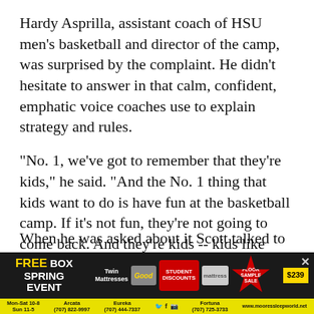Hardy Asprilla, assistant coach of HSU men's basketball and director of the camp, was surprised by the complaint. He didn't hesitate to answer in that calm, confident, emphatic voice coaches use to explain strategy and rules.
"No. 1, we've got to remember that they're kids," he said. "And the No. 1 thing that kids want to do is have fun at the basketball camp. If it's not fun, they're not going to come back. And they're kids -- kids like candy. For us, our No. 1 priority is safety. We want to make sure that we have the least amount of injuries as possible. The third item here, is, teaching the fundamentals and basics of basketball. In a nutshell, that's our philosophy: safety, fun, teach the game."
When he was asked about it Scott talked to him 2 "You...
[Figure (infographic): Advertisement banner for Moore's Sleep World 'Free Box Spring Event' featuring Twin Mattresses, sale pricing $239, starburst graphics, store hours and location information for Arcata, Eureka, and Fortuna, with website www.mooressleepworld.net]